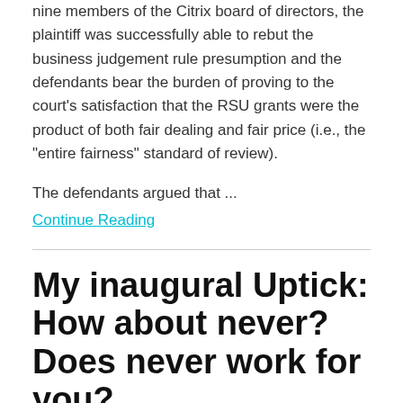nine members of the Citrix board of directors, the plaintiff was successfully able to rebut the business judgement rule presumption and the defendants bear the burden of proving to the court's satisfaction that the RSU grants were the product of both fair dealing and fair price (i.e., the "entire fairness" standard of review).
The defendants argued that ...
Continue Reading
My inaugural Uptick: How about never? Does never work for you?
[Figure (photo): Partial photo of a person, cropped at bottom of page]